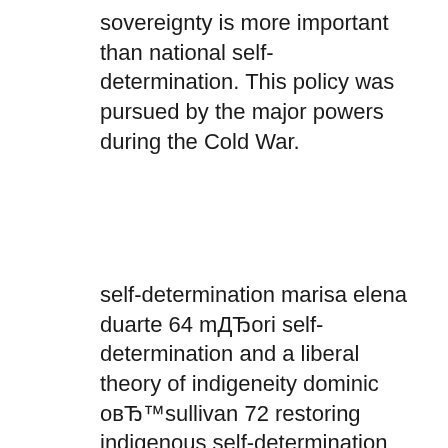sovereignty is more important than national self-determination. This policy was pursued by the major powers during the Cold War.
self-determination marisa elena duarte 64 mДЂori self-determination and a liberal theory of indigeneity dominic овЂ™sullivan 72 restoring indigenous self-determination through relational autonomy and transnational mediation roderic pitty 80 implementing indigenous self-determination: the case of the sГГmi in norway else grete broderstad selfвЂђregulation and wellness. SelfвЂђdetermination theory is an вЂњorganismic psychologyвЂ™ (Ryan, 1995), one of a family of holistic